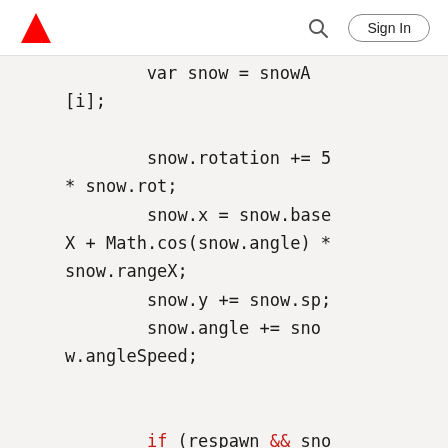Adobe Sign In
var snow = snowA[i];

            snow.rotation += 5 * snow.rot;
            snow.x = snow.baseX + Math.cos(snow.angle) * snow.rangeX;
            snow.y += snow.sp;
            snow.angle += snow.angleSpeed;


            if (respawn && snow.y > stage.canvas.height